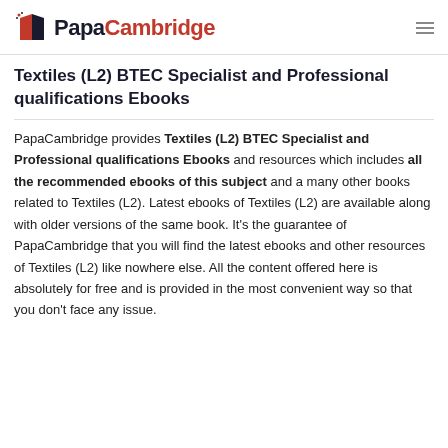PapaCambridge
Textiles (L2) BTEC Specialist and Professional qualifications Ebooks
PapaCambridge provides Textiles (L2) BTEC Specialist and Professional qualifications Ebooks and resources which includes all the recommended ebooks of this subject and a many other books related to Textiles (L2). Latest ebooks of Textiles (L2) are available along with older versions of the same book. It’s the guarantee of PapaCambridge that you will find the latest ebooks and other resources of Textiles (L2) like nowhere else. All the content offered here is absolutely for free and is provided in the most convenient way so that you don’t face any issue.